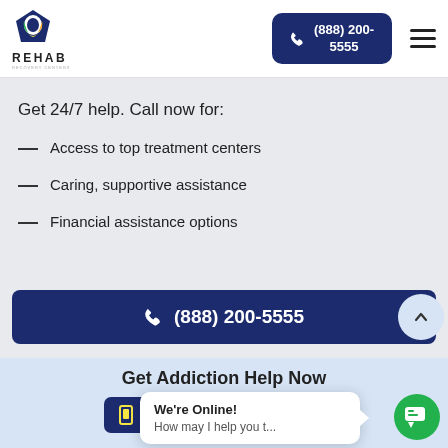[Figure (logo): REHAB logo with pentagon icon in blue, green, orange and yellow]
[Figure (screenshot): Phone button showing (888) 200-5555 on dark navy background]
[Figure (infographic): Hamburger menu icon (three horizontal lines)]
Get 24/7 help. Call now for:
Access to top treatment centers
Caring, supportive assistance
Financial assistance options
[Figure (screenshot): Call bar button showing (888) 200-5555 on dark navy background with scroll-to-top circle button]
Get Addiction Help Now
[Figure (screenshot): Bottom phone bar with yellow phone icon and partial number]
We're Online!
How may I help you t...